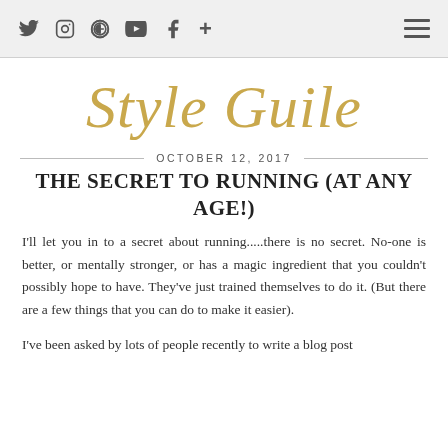Social icons: Twitter, Instagram, Pinterest, YouTube, Facebook, Plus | Hamburger menu
Style Guile
OCTOBER 12, 2017
THE SECRET TO RUNNING (AT ANY AGE!)
I'll let you in to a secret about running.....there is no secret. No-one is better, or mentally stronger, or has a magic ingredient that you couldn't possibly hope to have. They've just trained themselves to do it. (But there are a few things that you can do to make it easier).
I've been asked by lots of people recently to write a blog post